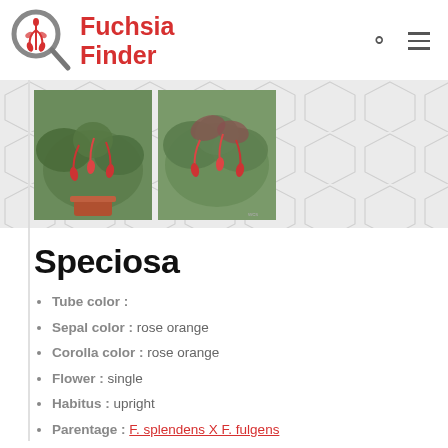Fuchsia Finder
[Figure (photo): Two photos of Fuchsia Speciosa plant with red-orange drooping flowers and green leaves, displayed side by side over a hexagonal patterned background]
Speciosa
Tube color :
Sepal color : rose orange
Corolla color : rose orange
Flower : single
Habitus : upright
Parentage : F. splendens X F. fulgens